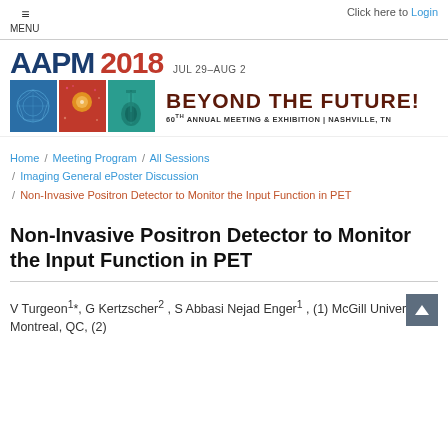MENU  |  Click here to Login
[Figure (logo): AAPM 2018 conference banner: JUL 29-AUG 2 | BEYOND THE FUTURE! 60th Annual Meeting & Exhibition | Nashville, TN]
Home / Meeting Program / All Sessions / Imaging General ePoster Discussion / Non-Invasive Positron Detector to Monitor the Input Function in PET
Non-Invasive Positron Detector to Monitor the Input Function in PET
V Turgeon¹*, G Kertzscher², S Abbasi Nejad Enger¹, (1) McGill University, Montreal, QC, (2)